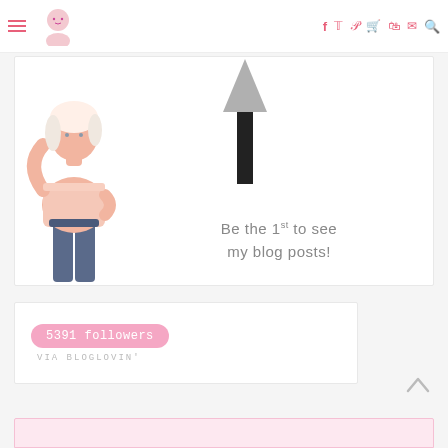Navigation bar with hamburger menu, logo, social icons (Facebook, Twitter, Pinterest, cart, cart, email, search)
[Figure (illustration): Blog promotion banner with illustrated woman in pink shirt, large upward arrow, and text 'Be the 1st to see my blog posts!']
5391 followers
VIA BLOGLOVIN'
[Figure (other): Partial pink card at bottom of page]